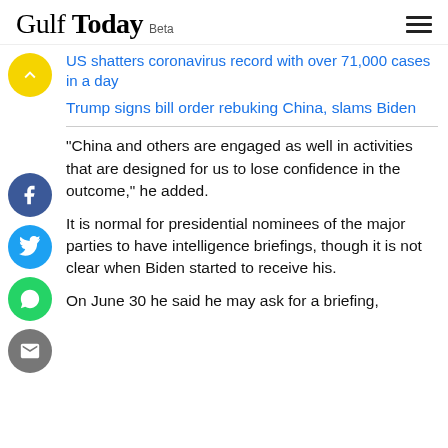Gulf Today Beta
US shatters coronavirus record with over 71,000 cases in a day
Trump signs bill order rebuking China, slams Biden
"China and others are engaged as well in activities that are designed for us to lose confidence in the outcome," he added.
It is normal for presidential nominees of the major parties to have intelligence briefings, though it is not clear when Biden started to receive his.
On June 30 he said he may ask for a briefing,